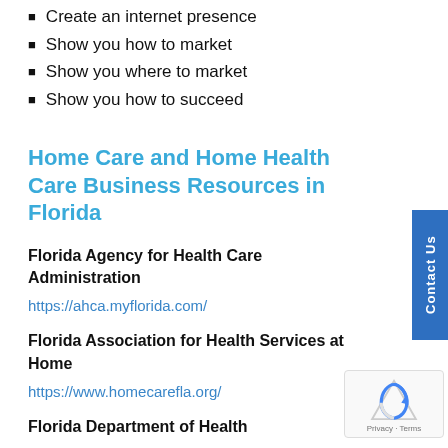Create an internet presence
Show you how to market
Show you where to market
Show you how to succeed
Home Care and Home Health Care Business Resources in Florida
Florida Agency for Health Care Administration
https://ahca.myflorida.com/
Florida Association for Health Services at Home
https://www.homecarefla.org/
Florida Department of Health
Medicaid Helpline
Florida Home Health Care Licensing Division